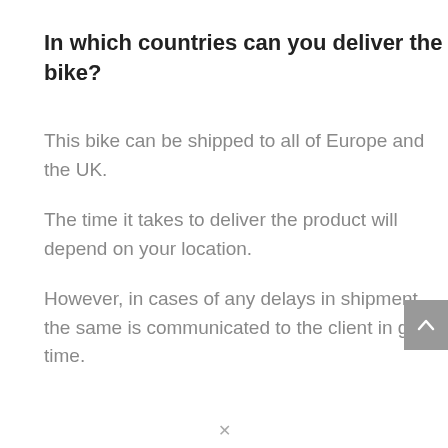In which countries can you deliver the bike?
This bike can be shipped to all of Europe and the UK.
The time it takes to deliver the product will depend on your location.
However, in cases of any delays in shipment, the same is communicated to the client in good time.